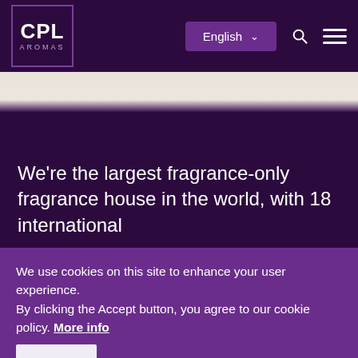CPL AROMAS — Navigation bar with logo, English language selector, search and menu icons
We're the largest fragrance-only fragrance house in the world, with 18 international
We use cookies on this site to enhance your user experience.
By clicking the Accept button, you agree to our cookie policy. More info
Accept   No, thanks